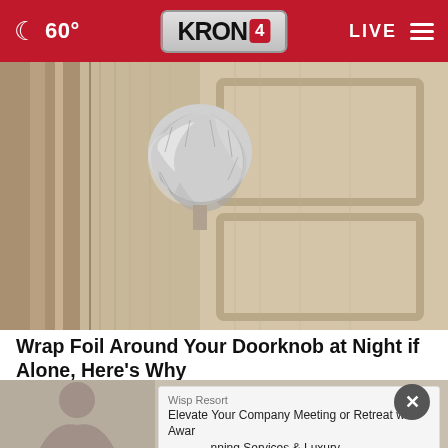60° KRON 4 LIVE
[Figure (photo): Close-up photo of a door knob wrapped in aluminum foil, with a wooden door visible in the background. The foil is crumpled around the door handle.]
Wrap Foil Around Your Doorknob at Night if Alone, Here's Why
Sogoodly
[Figure (photo): Partially visible thumbnail image at bottom of page with ad overlay from Wisp Resort: 'Elevate Your Company Meeting or Retreat w/ Award Winning Services & Luxury Accommodations.']